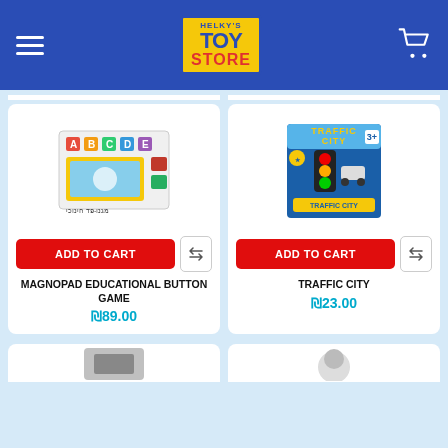Helky's Toy Store — navigation header with logo and cart icon
[Figure (photo): Magnopad Educational Button Game product box image]
ADD TO CART
MAGNOPAD EDUCATIONAL BUTTON GAME
₪89.00
[Figure (photo): Traffic City toy product box image with traffic light]
ADD TO CART
TRAFFIC CITY
₪23.00
[Figure (photo): Partial bottom-left product card (cut off)]
[Figure (photo): Partial bottom-right product card (cut off)]